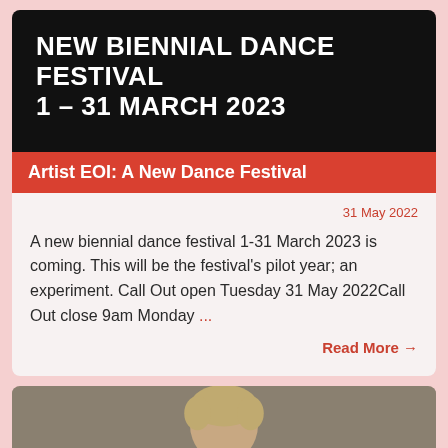NEW BIENNIAL DANCE FESTIVAL
1 – 31 MARCH 2023
Artist EOI: A New Dance Festival
31 May 2022
A new biennial dance festival 1-31 March 2023 is coming. This will be the festival's pilot year; an experiment. Call Out open Tuesday 31 May 2022Call Out close 9am Monday ...
Read More →
[Figure (photo): Portrait photo of a person with blonde hair, cropped at the shoulders, against a neutral grey-brown background]